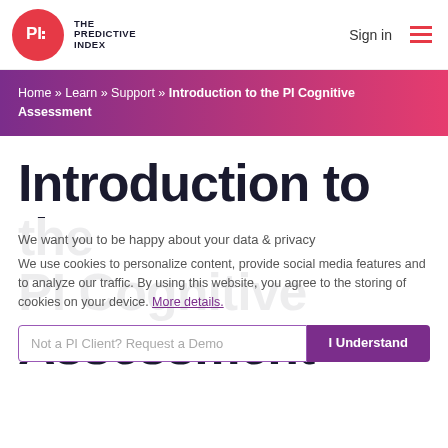[Figure (logo): The Predictive Index logo — red circle with PI text and company name]
Sign in
Home » Learn » Support » Introduction to the PI Cognitive Assessment
Introduction to the PI Cognitive Assessment
We want you to be happy about your data & privacy
We use cookies to personalize content, provide social media features and to analyze our traffic. By using this website, you agree to the storing of cookies on your device. More details.
Not a PI Client? Request a Demo
I Understand